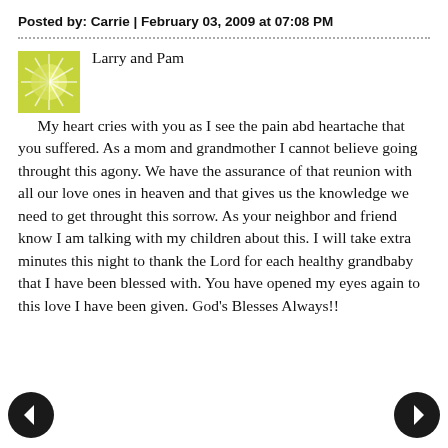Posted by: Carrie | February 03, 2009 at 07:08 PM
[Figure (illustration): Yellow-green circular sunburst avatar icon]
Larry and Pam
My heart cries with you as I see the pain abd heartache that you suffered. As a mom and grandmother I cannot believe going throught this agony. We have the assurance of that reunion with all our love ones in heaven and that gives us the knowledge we need to get throught this sorrow. As your neighbor and friend know I am talking with my children about this. I will take extra minutes this night to thank the Lord for each healthy grandbaby that I have been blessed with. You have opened my eyes again to this love I have been given. God's Blesses Always!!
[Figure (illustration): Left navigation arrow button (black circle with white left arrow)]
[Figure (illustration): Right navigation arrow button (black circle with white right arrow)]